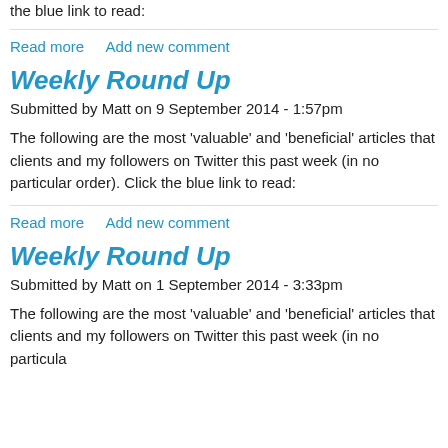the blue link to read:
Read more    Add new comment
Weekly Round Up
Submitted by Matt on 9 September 2014 - 1:57pm
The following are the most 'valuable' and 'beneficial' articles that clients and my followers on Twitter this past week (in no particular order). Click the blue link to read:
Read more    Add new comment
Weekly Round Up
Submitted by Matt on 1 September 2014 - 3:33pm
The following are the most 'valuable' and 'beneficial' articles that clients and my followers on Twitter this past week (in no particula